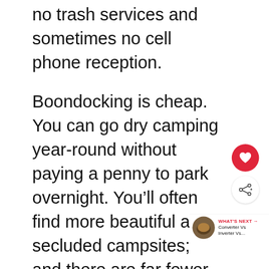no trash services and sometimes no cell phone reception.
Boondocking is cheap. You can go dry camping year-round without paying a penny to park overnight. You'll often find more beautiful and secluded campsites; and there are far fewer restrictions on pets, noise ordinances, or space.
[Figure (other): Heart (favorite) button in red circle and share button below it, floating on right side of page]
[Figure (other): What's Next panel with circular thumbnail image of a converter/inverter and text: WHAT'S NEXT → Converter Vs Inverter Vs...]
[Figure (other): Advertisement banner at bottom: Save 30% on your favorite PUMA Sale styles. Use code SIZZLE on PUMA.com. Ends 9/5. SHOP NOW button. Marquee logo on right.]